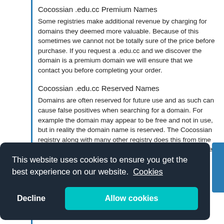Cocossian .edu.cc Premium Names
Some registries make additional revenue by charging for domains they deemed more valuable. Because of this sometimes we cannot not be totally sure of the price before purchase. If you request a .edu.cc and we discover the domain is a premium domain we will ensure that we contact you before completing your order.
Cocossian .edu.cc Reserved Names
Domains are often reserved for future use and as such can cause false positives when searching for a domain. For example the domain may appear to be free and not in use, but in reality the domain name is reserved. The Cocossian registry along with many other registry does this from time to time. If you request a reserved name we will not be able to register it for
This website uses cookies to ensure you get the best experience on our website. Cookies
Decline
Allow cookies
details.